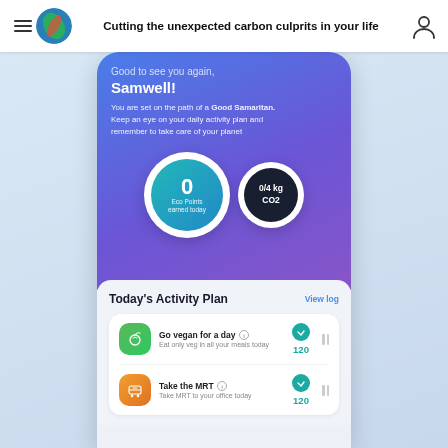Cutting the unexpected carbon culprits in your life
[Figure (screenshot): Mobile app screenshot showing eco-tracking app dashboard for user 'Samwell' with Eco Points (0) and CO2 tracker (0/4 kg CO2), Today's Activity Plan with 'Go vegan for a day' (120 points) and 'Take the MRT' (120 points) activities]
Good to see you again, Samwell!
You are set on the path of a Good Samaritan. Keep an eye on your daily activity plan and remember to take care of your planet
0
Eco Points earned today
0/4 kg CO2
Today's Activity Plan
View log
Go vegan for a day — Eat only veg in all your meals today — 120
Take the MRT — Take MRT to your office today — 120